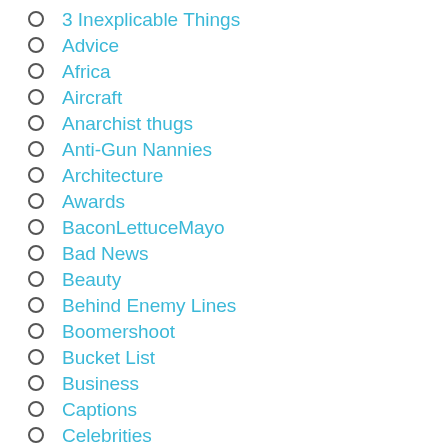3 Inexplicable Things
Advice
Africa
Aircraft
Anarchist thugs
Anti-Gun Nannies
Architecture
Awards
BaconLettuceMayo
Bad News
Beauty
Behind Enemy Lines
Boomershoot
Bucket List
Business
Captions
Celebrities
Classic Beauty
Clothing